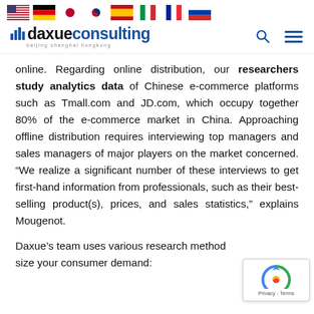Flags row: US, Germany, Japan, South Korea, Spain, Italy, France, Russia flags
daxue consulting — beijing shanghai hongkong — search and menu icons
online. Regarding online distribution, our researchers study analytics data of Chinese e-commerce platforms such as Tmall.com and JD.com, which occupy together 80% of the e-commerce market in China. Approaching offline distribution requires interviewing top managers and sales managers of major players on the market concerned. “We realize a significant number of these interviews to get first-hand information from professionals, such as their best-selling product(s), prices, and sales statistics,” explains Mougenot.
Daxue’s team uses various research methods to size your consumer demand: